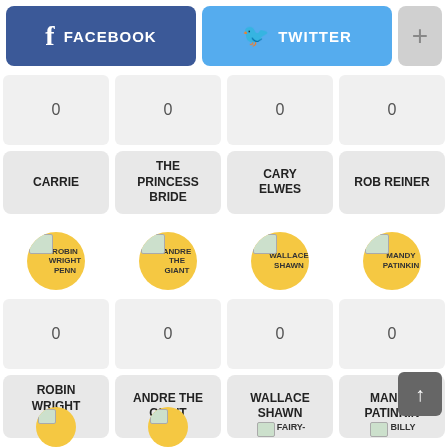[Figure (screenshot): Social sharing bar with Facebook (blue), Twitter (light blue), and plus (+) buttons]
| Col1 | Col2 | Col3 | Col4 |
| --- | --- | --- | --- |
| 0 | 0 | 0 | 0 |
| CARRIE | THE PRINCESS BRIDE | CARY ELWES | ROB REINER |
[Figure (infographic): Four avatar circles (yellow with image placeholder) labelled: ROBIN WRIGHT PENN, ANDRE THE GIANT, WALLACE SHAWN, MANDY PATINKIN]
| Col1 | Col2 | Col3 | Col4 |
| --- | --- | --- | --- |
| 0 | 0 | 0 | 0 |
| ROBIN WRIGHT PENN | ANDRE THE GIANT | WALLACE SHAWN | MANDY PATINKIN |
[Figure (infographic): Partial bottom row showing avatar circles and text: FAIRY-, BILLY]